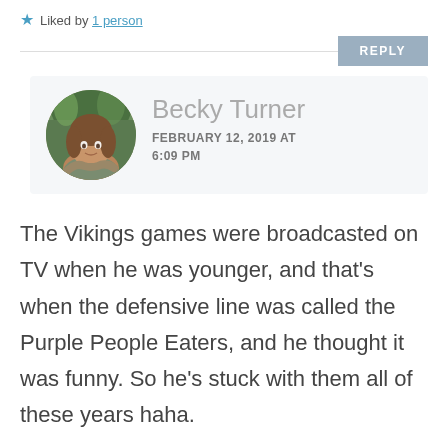★ Liked by 1 person
REPLY
[Figure (photo): Circular avatar photo of Becky Turner, a woman with brown hair in a forested outdoor setting]
Becky Turner
FEBRUARY 12, 2019 AT 6:09 PM
The Vikings games were broadcasted on TV when he was younger, and that's when the defensive line was called the Purple People Eaters, and he thought it was funny. So he's stuck with them all of these years haha.
I didn't like the halftime show at all